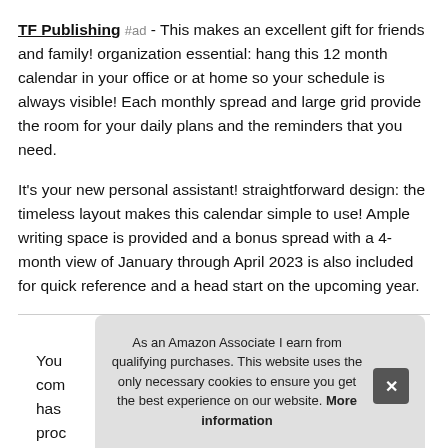TF Publishing #ad - This makes an excellent gift for friends and family! organization essential: hang this 12 month calendar in your office or at home so your schedule is always visible! Each monthly spread and large grid provide the room for your daily plans and the reminders that you need.
It's your new personal assistant! straightforward design: the timeless layout makes this calendar simple to use! Ample writing space is provided and a bonus spread with a 4-month view of January through April 2023 is also included for quick reference and a head start on the upcoming year.
More information #ad
You com has proc
As an Amazon Associate I earn from qualifying purchases. This website uses the only necessary cookies to ensure you get the best experience on our website. More information